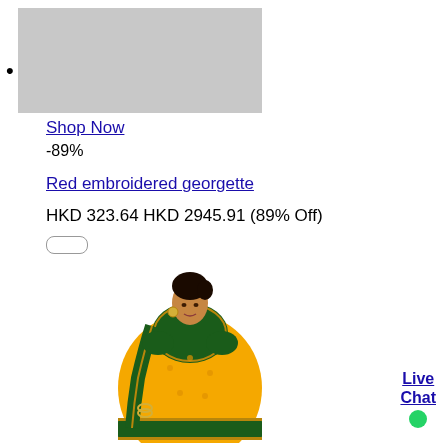[Figure (photo): Gray placeholder product image rectangle]
Shop Now
-89%

Red embroidered georgette

HKD 323.64 HKD 2945.91 (89% Off)
[Figure (photo): Woman wearing a yellow and green embroidered georgette saree with green blouse and gold jewelry]
Live Chat